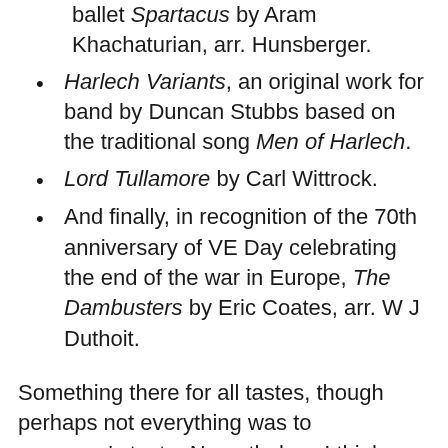ballet Spartacus by Aram Khachaturian, arr. Hunsberger.
Harlech Variants, an original work for band by Duncan Stubbs based on the traditional song Men of Harlech.
Lord Tullamore by Carl Wittrock.
And finally, in recognition of the 70th anniversary of VE Day celebrating the end of the war in Europe, The Dambusters by Eric Coates, arr. W J Duthoit.
Something there for all tastes, though perhaps not everything was to everyone’s taste. Nevertheless I think the audience enjoyed the concert on the whole and would have liked an encore, if we had prepared one.
Now summer is approaching, time to prepare